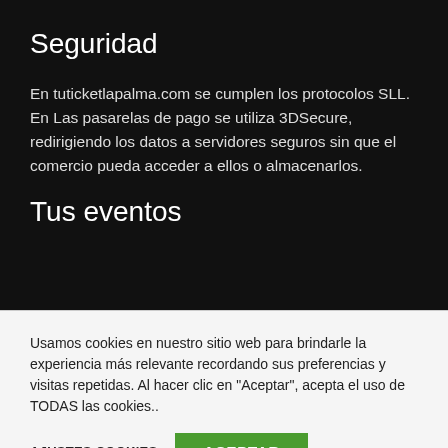Seguridad
En tuticketlapalma.com se cumplen los protocolos SLL. En Las pasarelas de pago se utiliza 3DSecure, redirigiendo los datos a servidores seguros sin que el comercio pueda acceder a ellos o almacenarlos.
Tus eventos
Usamos cookies en nuestro sitio web para brindarle la experiencia más relevante recordando sus preferencias y visitas repetidas. Al hacer clic en "Aceptar", acepta el uso de TODAS las cookies..
AJUSTES COOKIES   ACEPTAR